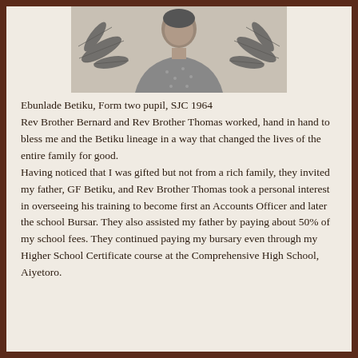[Figure (photo): Black and white photograph of Ebunlade Betiku as a Form two pupil, SJC 1964, shown from shoulders up wearing a patterned shirt, with decorative palm leaf motifs on either side]
Ebunlade Betiku, Form two pupil, SJC 1964 Rev Brother Bernard and Rev Brother Thomas worked, hand in hand to bless me and the Betiku lineage in a way that changed the lives of the entire family for good. Having noticed that I was gifted but not from a rich family, they invited my father, GF Betiku, and Rev Brother Thomas took a personal interest in overseeing his training to become first an Accounts Officer and later the school Bursar. They also assisted my father by paying about 50% of my school fees. They continued paying my bursary even through my Higher School Certificate course at the Comprehensive High School, Aiyetoro.